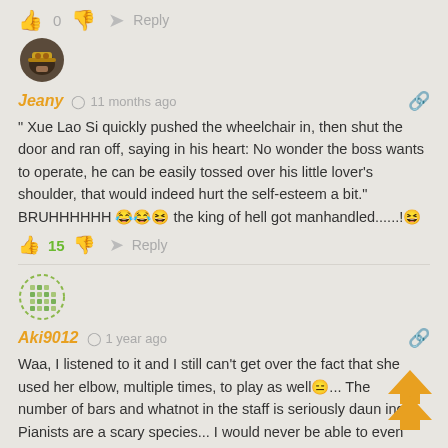0  Reply
[Figure (illustration): User avatar - character with hat, brown/golden tones]
Jeany  11 months ago
" Xue Lao Si quickly pushed the wheelchair in, then shut the door and ran off, saying in his heart: No wonder the boss wants to operate, he can be easily tossed over his little lover's shoulder, that would indeed hurt the self-esteem a bit." BRUHHHHHH 😂😂😆 the king of hell got manhandled......!😆
15  Reply
[Figure (illustration): User avatar - green dotted pattern circular avatar]
Aki9012  1 year ago
Waa, I listened to it and I still can't get over the fact that she used her elbow, multiple times, to play as well😑... The number of bars and whatnot in the staff is seriously daunting. Pianists are a scary species... I would never be able to even comprehend such scores for any instrument.